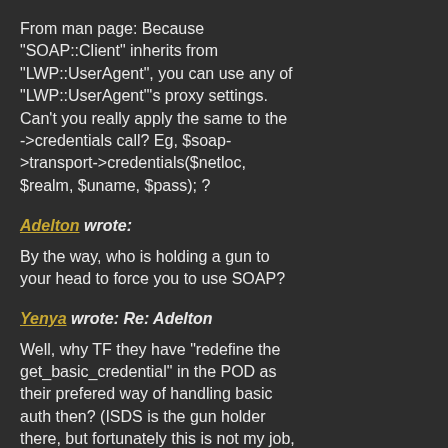From man page: Because "SOAP::Client" inherits from "LWP::UserAgent", you can use any of "LWP::UserAgent"'s proxy settings. Can't you really apply the same to the ->credentials call? Eg, $soap->transport->credentials($netloc, $realm, $uname, $pass); ?
Adelton wrote:
By the way, who is holding a gun to your head to force you to use SOAP?
Yenya wrote: Re: Adelton
Well, why TF they have "redefine the get_basic_credential" in the POD as their prefered way of handling basic auth then? (ISDS is the gun holder there, but fortunately this is not my job, I just tried to help one of my colleagues :-)